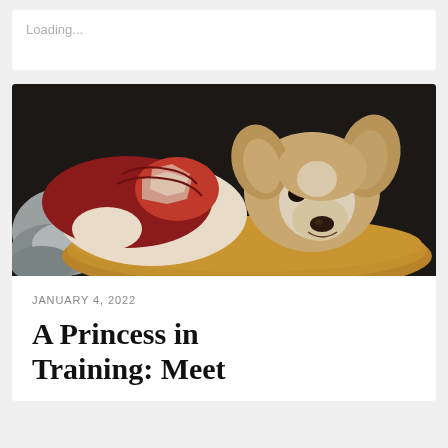Loading...
[Figure (photo): A small dog wearing a red and white patterned sweater resting its head on a golden/tan pillow, with grey knitted fabric visible to the left. The dog has tan and white coloring with alert ears. Dark background.]
JANUARY 4, 2022
A Princess in Training: Meet